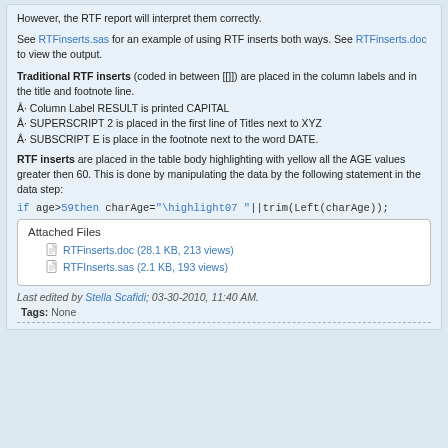the END file (this can be avoided by using the TITLEANNO option). However, the RTF report will interpret them correctly.
See RTFinserts.sas for an example of using RTF inserts both ways. See RTFinserts.doc to view the output.
Traditional RTF inserts (coded in between [[]]) are placed in the column labels and in the title and footnote line.
Â· Column Label RESULT is printed CAPITAL
Â· SUPERSCRIPT 2 is placed in the first line of Titles next to XYZ
Â· SUBSCRIPT E is place in the footnote next to the word DATE.
RTF inserts are placed in the table body highlighting with yellow all the AGE values greater then 60. This is done by manipulating the data by the following statement in the data step:
if age>59then charAge="\highlight07 "||trim(Left(charAge));
| Attached Files |
| --- |
| RTFinserts.doc (28.1 KB, 213 views) |
| RTFInserts.sas (2.1 KB, 193 views) |
Last edited by Stella Scafidi; 03-30-2010, 11:40 AM.
Tags: None